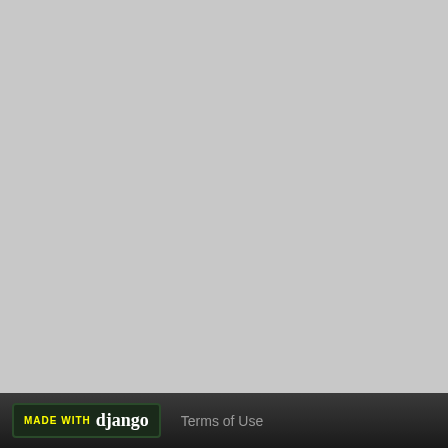| Name | Genus | Accession |
| --- | --- | --- |
| JKerns | Arthrobacter | AC |
| Jordan | Arthrobacter | AC |
| King2 | Arthrobacter | AC |
| LeeroyJ | Arthrobacter | AC |
| Martha | Arthrobacter | AC |
| NathanVaag | Arthrobacter | AC |
| Piccoletto | Arthrobacter | AC |
| Pippa | Arthrobacter | AC |
| Shade | Arthrobacter | AC |
| Sicarius2 | Arthrobacter | AC |
| Sonny | Arthrobacter | AC |
| StevieBAY | Arthrobacter | AC |
| TaeYoung | Arthrobacter | AC |
| Timinator | Arthrobacter | AC |
| Zartrosa | Arthrobacter | AC |
MADE WITH django   Terms of Use